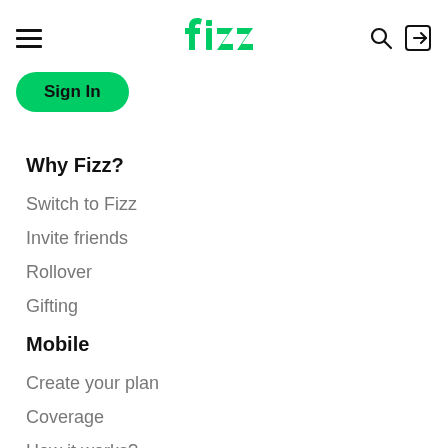fizz
[Figure (logo): Fizz logo in green with stylized lowercase lettering]
Sign In
Why Fizz?
Switch to Fizz
Invite friends
Rollover
Gifting
Mobile
Create your plan
Coverage
How it works?